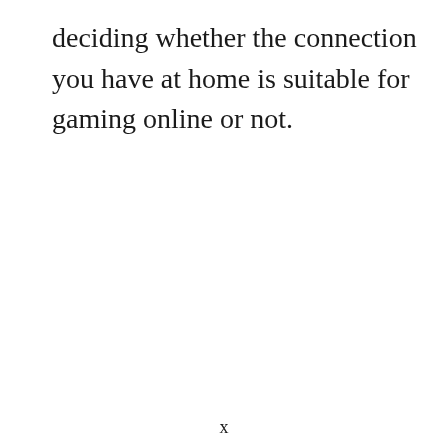deciding whether the connection you have at home is suitable for gaming online or not.
x